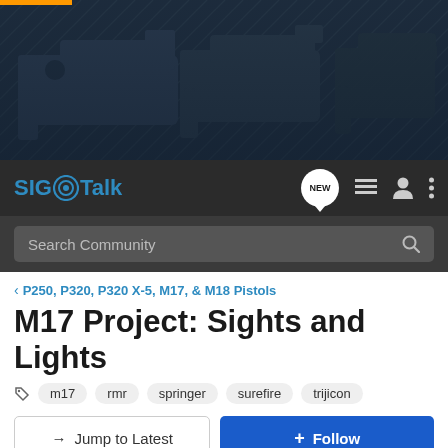[Figure (photo): Hero banner image showing three dark pistols (handguns) on a textured dark metal surface, with an orange accent bar at top left]
SIG Talk
Search Community
< P250, P320, P320 X-5, M17, & M18 Pistols
M17 Project: Sights and Lights
m17  rmr  springer  surefire  trijicon
→ Jump to Latest
+ Follow
1 - 18 of 18 Posts
18Bravo · Registered 🇺🇸